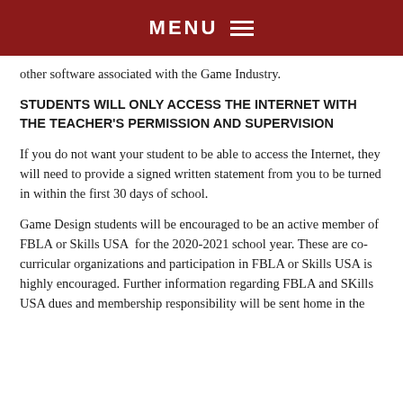MENU
other software associated with the Game Industry.
STUDENTS WILL ONLY ACCESS THE INTERNET WITH THE TEACHER'S PERMISSION AND SUPERVISION
If you do not want your student to be able to access the Internet, they will need to provide a signed written statement from you to be turned in within the first 30 days of school.
Game Design students will be encouraged to be an active member of FBLA or Skills USA for the 2020-2021 school year. These are co-curricular organizations and participation in FBLA or Skills USA is highly encouraged. Further information regarding FBLA and SKills USA dues and membership responsibility will be sent home in the